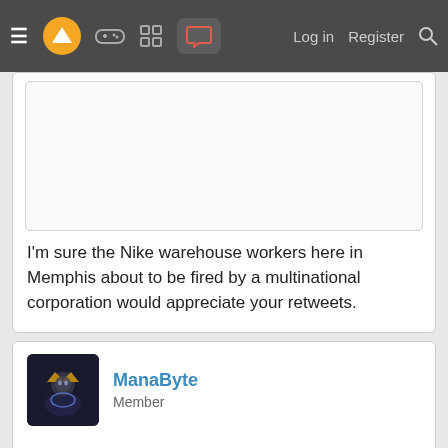Navigation bar with menu, logo, icons, Log in, Register, Search
[Figure (screenshot): Quoted/embedded content area (white box, cropped at top)]
I'm sure the Nike warehouse workers here in Memphis about to be fired by a multinational corporation would appreciate your retweets.
[Figure (photo): Avatar image for user ManaByte - dark fantasy character]
ManaByte
Member
Jan 15, 2022
Guileless said: ↑